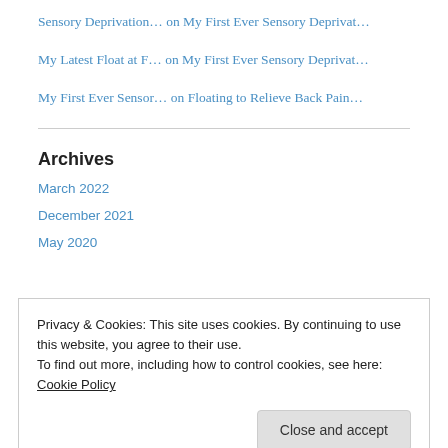Sensory Deprivation… on My First Ever Sensory Deprivat…
My Latest Float at F… on My First Ever Sensory Deprivat…
My First Ever Sensor… on Floating to Relieve Back Pain…
Archives
March 2022
December 2021
May 2020
Privacy & Cookies: This site uses cookies. By continuing to use this website, you agree to their use.
To find out more, including how to control cookies, see here: Cookie Policy
May 2019